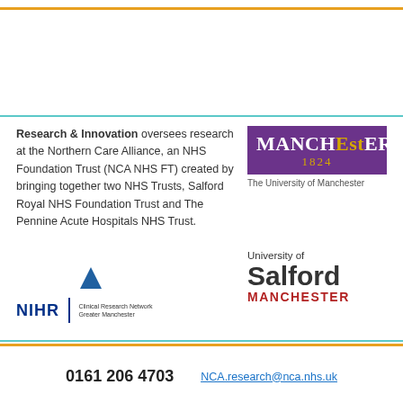Research & Innovation oversees research at the Northern Care Alliance, an NHS Foundation Trust (NCA NHS FT) created by bringing together two NHS Trusts, Salford Royal NHS Foundation Trust and The Pennine Acute Hospitals NHS Trust.
[Figure (logo): University of Manchester logo: purple rectangle with 'MANCHEstER 1824' text in white and gold, subtitle 'The University of Manchester']
[Figure (logo): NIHR Clinical Research Network Greater Manchester logo with blue triangle above]
[Figure (logo): University of Salford Manchester logo in grey and red text]
0161 206 4703   NCA.research@nca.nhs.uk